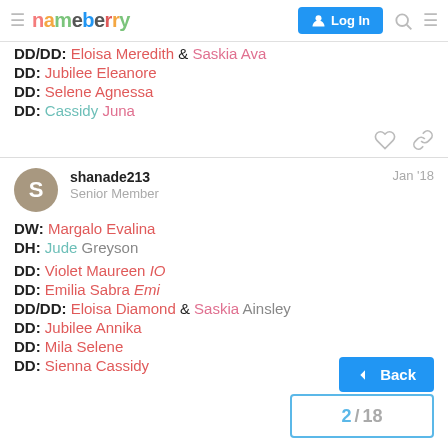nameberry | Log In
DD/DD: Eloisa Meredith & Saskia Ava
DD: Jubilee Eleanore
DD: Selene Agnessa
DD: Cassidy Juna
shanade213  Jan '18
Senior Member
DW: Margalo Evalina
DH: Jude Greyson
DD: Violet Maureen IO
DD: Emilia Sabra Emi
DD/DD: Eloisa Diamond & Saskia Ainsley
DD: Jubilee Annika
DD: Mila Selene
DD: Sienna Cassidy